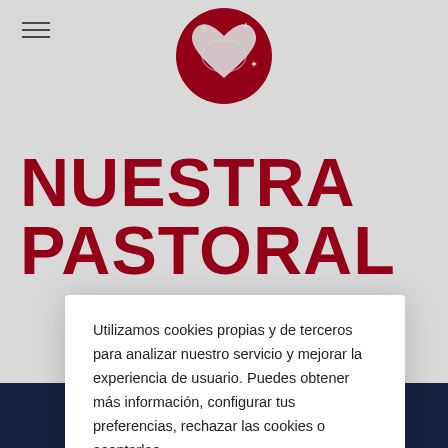[Figure (logo): Red circular logo with a heart and world map design, with star/cross shapes, on white background]
NUESTRA PASTORAL
Qu... ón, co... y qu... os, ad... sí un... a ca... as as... un mu...
[Figure (photo): Three decorative image thumbnails in a horizontal strip at the bottom showing artistic/religious imagery with dark blue tones]
Utilizamos cookies propias y de terceros para analizar nuestro servicio y mejorar la experiencia de usuario. Puedes obtener más información, configurar tus preferencias, rechazar las cookies o aceptarlas.
Leer más   Ajustes
Rechazar   Aceptar